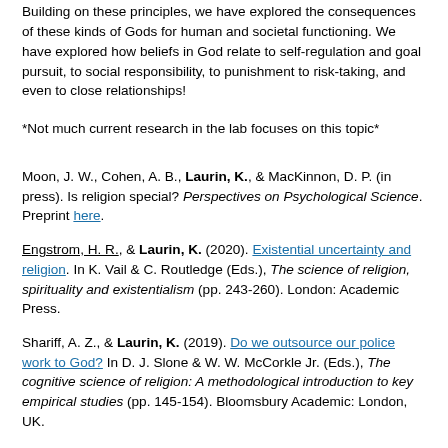Building on these principles, we have explored the consequences of these kinds of Gods for human and societal functioning. We have explored how beliefs in God relate to self-regulation and goal pursuit, to social responsibility, to punishment to risk-taking, and even to close relationships!
*Not much current research in the lab focuses on this topic*
Moon, J. W., Cohen, A. B., Laurin, K., & MacKinnon, D. P. (in press). Is religion special? Perspectives on Psychological Science. Preprint here.
Engstrom, H. R., & Laurin, K. (2020). Existential uncertainty and religion. In K. Vail & C. Routledge (Eds.), The science of religion, spirituality and existentialism (pp. 243-260). London: Academic Press.
Shariff, A. Z., & Laurin, K. (2019). Do we outsource our police work to God? In D. J. Slone & W. W. McCorkle Jr. (Eds.), The cognitive science of religion: A methodological introduction to key empirical studies (pp. 145-154). Bloomsbury Academic: London, UK.